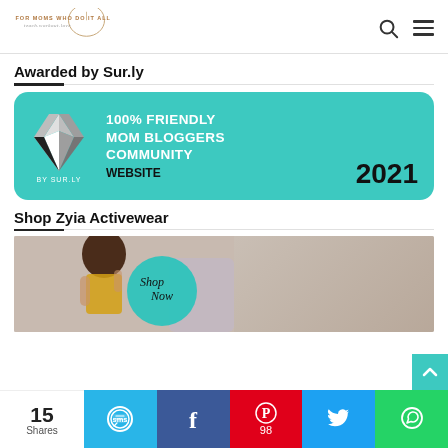FOR MOMS WHO DO IT ALL — teach.workout.love
Awarded by Sur.ly
[Figure (illustration): Sur.ly award badge: teal rounded rectangle with diamond icon, text '100% FRIENDLY MOM BLOGGERS COMMUNITY WEBSITE' and '2021', 'BY SUR.LY']
Shop Zyia Activewear
[Figure (photo): Photo of two women in activewear with a 'Shop Now' teal circle overlay]
15 Shares | SMS | Facebook | Pinterest 98 | Twitter | WhatsApp